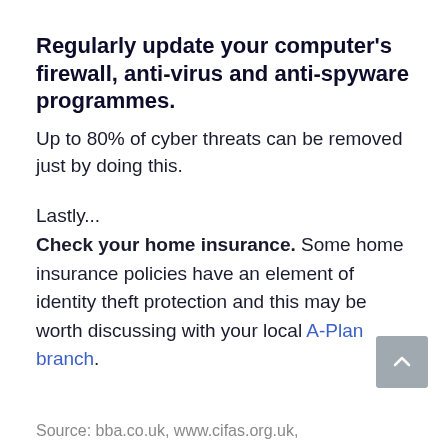Regularly update your computer's firewall, anti-virus and anti-spyware programmes.
Up to 80% of cyber threats can be removed just by doing this.
Lastly...
Check your home insurance. Some home insurance policies have an element of identity theft protection and this may be worth discussing with your local A-Plan branch.
Source: bba.co.uk, www.cifas.org.uk,